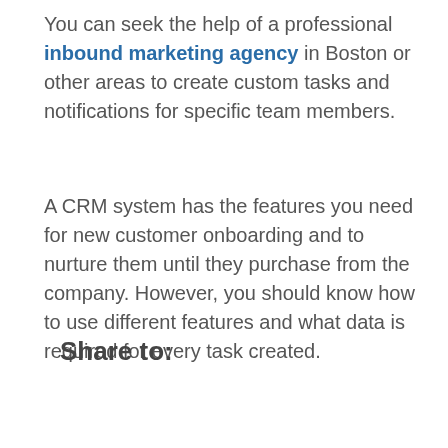You can seek the help of a professional inbound marketing agency in Boston or other areas to create custom tasks and notifications for specific team members.
A CRM system has the features you need for new customer onboarding and to nurture them until they purchase from the company. However, you should know how to use different features and what data is required for every task created.
Share to:
[Figure (other): Social share buttons: Facebook (dark blue) and Twitter (light blue) side by side, with a scroll-to-top button on the right.]